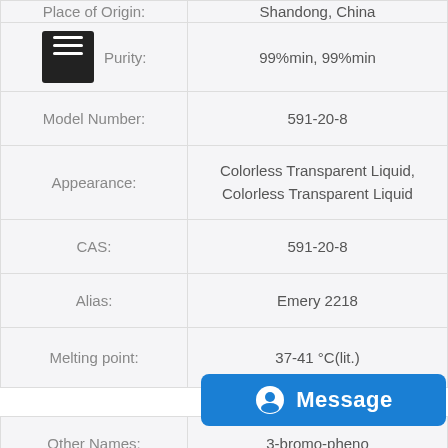| Property | Value |
| --- | --- |
| Place of Origin: | Shandong, China |
| Purity: | 99%min, 99%min |
| Model Number: | 591-20-8 |
| Appearance: | Colorless Transparent Liquid, Colorless Transparent Liquid |
| CAS: | 591-20-8 |
| Alias: | Emery 2218 |
| Melting point: | 37-41 °C(lit.) |
| Other Names: | 3-bromo-pheno |
| EINECS No.: |  |
| Type: | Pharmaceutical Intermediate |